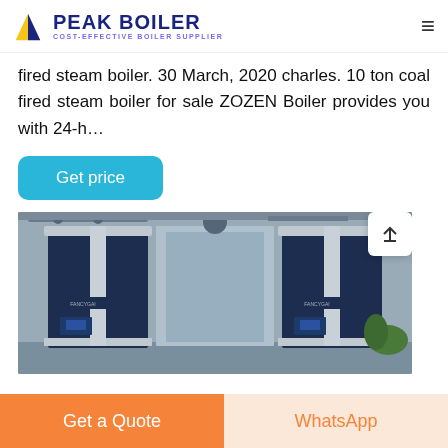PEAK BOILER — COST-EFFECTIVE BOILER SUPPLIER
fired steam boiler. 30 March, 2020 charles. 10 ton coal fired steam boiler for sale ZOZEN Boiler provides you with 24-h…
Get price
[Figure (photo): Industrial boilers in a factory setting — two large dark blue/silver vertical boiler units with control panels, pipes and fittings visible, yellow pipe sections visible on the right side.]
Get a Quote
WhatsApp